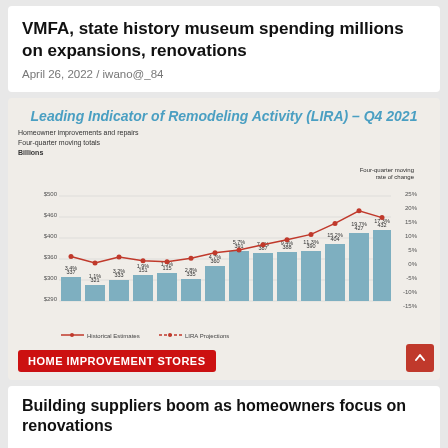VMFA, state history museum spending millions on expansions, renovations
April 26, 2022 / iwano@_84
[Figure (bar-chart): Bar and line chart showing homeowner improvements and repairs four-quarter moving totals in billions, with four-quarter moving rate of change percentage line.]
HOME IMPROVEMENT STORES
Building suppliers boom as homeowners focus on renovations